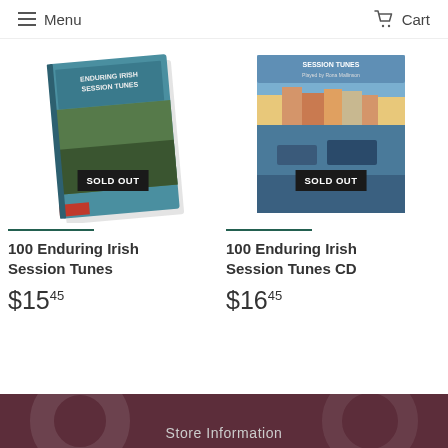Menu   Cart
[Figure (photo): Book cover for 100 Enduring Irish Session Tunes with SOLD OUT badge]
100 Enduring Irish Session Tunes
$15.45
[Figure (photo): CD cover for 100 Enduring Irish Session Tunes CD showing harbor scene with SOLD OUT badge]
100 Enduring Irish Session Tunes CD
$16.45
Store Information